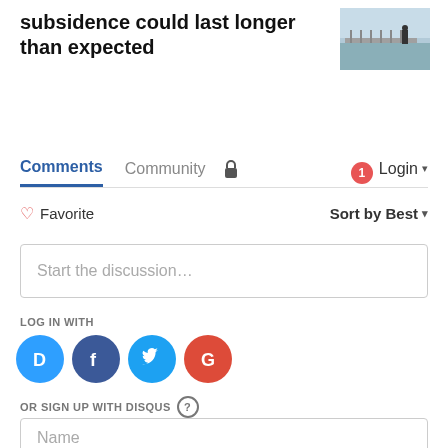subsidence could last longer than expected
[Figure (photo): Thumbnail photo of a pier or walkway over water with a person holding a sign]
Comments  Community  🔒  1  Login
♡ Favorite    Sort by Best ▾
Start the discussion…
LOG IN WITH
[Figure (logo): Social login icons: Disqus (D), Facebook (f), Twitter bird, Google (G)]
OR SIGN UP WITH DISQUS ?
Name